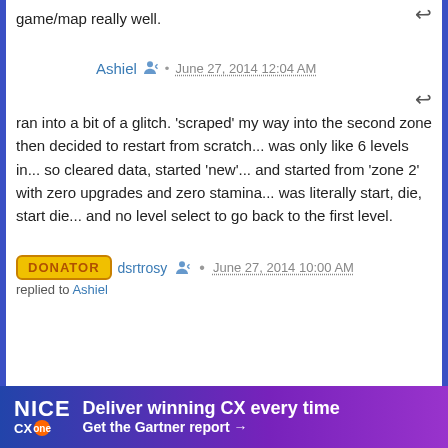game/map really well.
Ashiel • June 27, 2014 12:04 AM
ran into a bit of a glitch. 'scraped' my way into the second zone then decided to restart from scratch... was only like 6 levels in... so cleared data, started 'new'... and started from 'zone 2' with zero upgrades and zero stamina... was literally start, die, start die... and no level select to go back to the first level.
DONATOR dsrtrosy • June 27, 2014 10:00 AM
replied to Ashiel
[Figure (infographic): NICE CXone advertisement banner: 'Deliver winning CX every time. Get the Gartner report →']